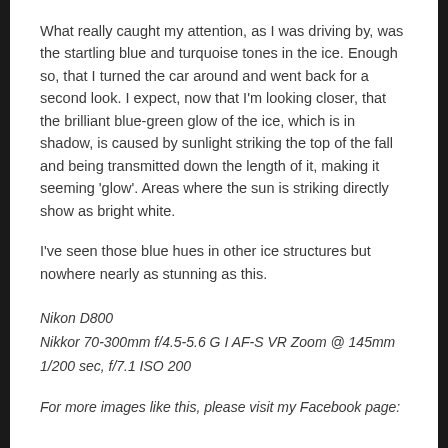What really caught my attention, as I was driving by, was the startling blue and turquoise tones in the ice. Enough so, that I turned the car around and went back for a second look. I expect, now that I'm looking closer, that the brilliant blue-green glow of the ice, which is in shadow, is caused by sunlight striking the top of the fall and being transmitted down the length of it, making it seeming 'glow'. Areas where the sun is striking directly show as bright white.
I've seen those blue hues in other ice structures but nowhere nearly as stunning as this.
Nikon D800
Nikkor 70-300mm f/4.5-5.6 G I AF-S VR Zoom @ 145mm
1/200 sec, f/7.1 ISO 200
For more images like this, please visit my Facebook page: